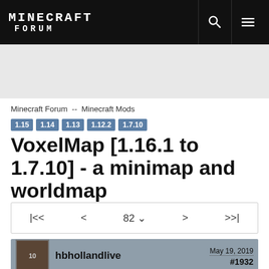MINECRAFT FORUM
Minecraft Forum  --  Minecraft Mods
1.15  1.14  1.13  1.12.2  1.7.10
VoxelMap [1.16.1 to 1.7.10] - a minimap and worldmap
|<<  <  82  >  >>|
hbhollandlive   May 19, 2019   #1932
Member Details
So I've installed VoxelMap on 1.14.1 and loaded up an old world